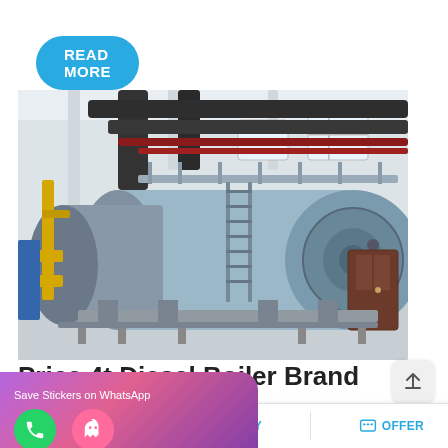READ MORE
[Figure (photo): Industrial diesel boiler installation inside a factory/plant building. Two large horizontal cylindrical boilers (light blue/grey) are mounted on frames with black pipes overhead, yellow gas pipes on the left, a metal ladder, and a dark brown door in the background.]
Price 4t Diesel Boiler Brand Turkmenistan
nt Price Uzbekistan. seller 4t coal
Save Stickers on WhatsApp
MAIL   ADVISORY   OFFER